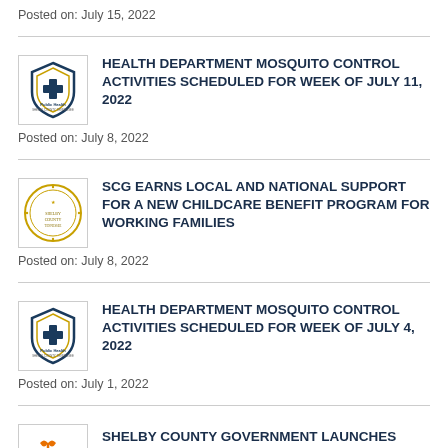Posted on: July 15, 2022
HEALTH DEPARTMENT MOSQUITO CONTROL ACTIVITIES SCHEDULED FOR WEEK OF JULY 11, 2022
Posted on: July 8, 2022
SCG EARNS LOCAL AND NATIONAL SUPPORT FOR A NEW CHILDCARE BENEFIT PROGRAM FOR WORKING FAMILIES
Posted on: July 8, 2022
HEALTH DEPARTMENT MOSQUITO CONTROL ACTIVITIES SCHEDULED FOR WEEK OF JULY 4, 2022
Posted on: July 1, 2022
SHELBY COUNTY GOVERNMENT LAUNCHES GUN SAFETY COUNCIL
Posted on: June 30, 2022